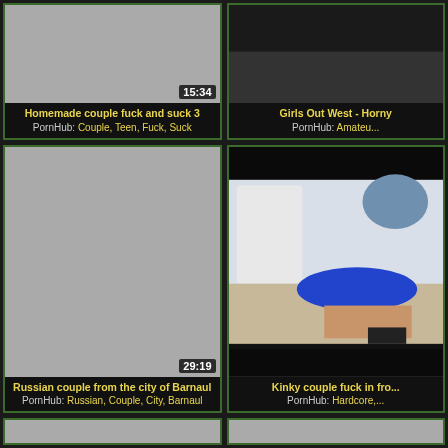[Figure (screenshot): Video thumbnail grid item 1 - gray thumbnail with duration 15:34]
Homemade couple fuck and suck 3
PornHub: Couple, Teen, Fuck, Suck
[Figure (screenshot): Video thumbnail grid item 2 - Girls Out West Horny, partial right column]
Girls Out West - Horny
PornHub: Amateu...
[Figure (screenshot): Video thumbnail grid item 3 - gray thumbnail with duration 29:19]
Russian couple from the city of Barnaul
PornHub: Russian, Couple, City, Barnaul
[Figure (photo): Video thumbnail grid item 4 - woman in blue underwear on bed, right column]
Kinky couple fuck in fro...
PornHub: Hardcore,...
[Figure (screenshot): Video thumbnail grid item 5 bottom left - gray thumbnail partial]
[Figure (screenshot): Video thumbnail grid item 6 bottom right - gray thumbnail partial]